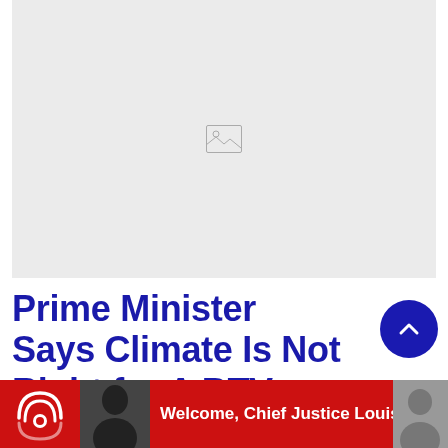[Figure (photo): Large image placeholder with broken image icon on light gray background]
Prime Minister Says Climate Is Not Right for A BTV Expedition
Welcome, Chief Justice Louise Blenman!